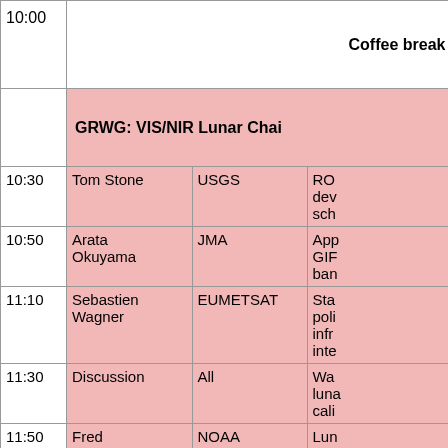| Time | Speaker | Organization | Topic |
| --- | --- | --- | --- |
| 10:00 |  |  | Coffee break |
|  | GRWG: VIS/NIR Lunar Chai... |  |  |
| 10:30 | Tom Stone | USGS | RO... dev... sch... |
| 10:50 | Arata Okuyama | JMA | App... GIF... ban... |
| 11:10 | Sebastien Wagner | EUMETSAT | Sta... poli... infr... inte... |
| 11:30 | Discussion | All | Wa... luna... cali... |
| 11:50 | Fred | NOAA | Lun... |